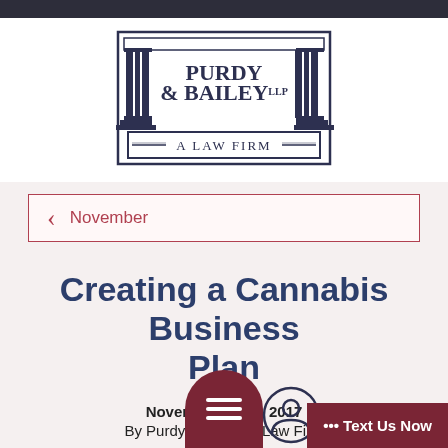[Figure (logo): Purdy & Bailey LLP – A Law Firm logo with classical Greek column architectural frame in dark navy/charcoal style]
November
Creating a Cannabis Business Plan
November 2017
By Purdy & A Law Firm